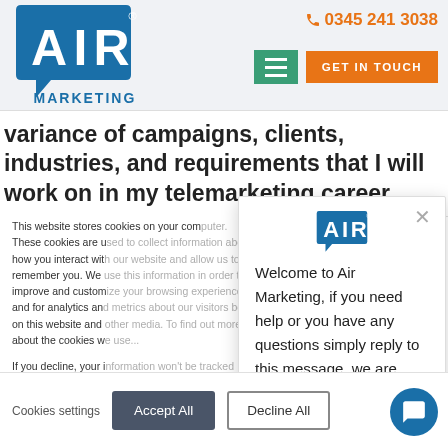[Figure (logo): AIR Marketing logo — blue speech bubble with AIR text and MARKETING below]
0345 241 3038
GET IN TOUCH
variance of campaigns, clients, industries, and requirements that I will work on in my telemarketing career.
This website stores cookies on your computer. These cookies are used to collect information about how you interact with our website and allow us to remember you. We use this information in order to improve and customize your browsing experience and for analytics and metrics about our visitors both on this website and other media. To find out more about the cookies we use...
If you decline, your information won't be tracked when you visit this website. A single cookie will be used in your browser to remember your preference not to be tracked.
[Figure (logo): AIR Marketing chat widget logo — circular AIR Marketing logo]
Welcome to Air Marketing, if you need help or you have any questions simply reply to this message, we are online and here to help.
Cookies settings
Accept All
Decline All